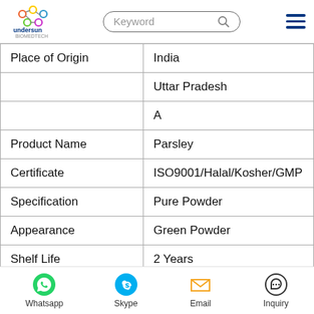Undersun Biomedtech — Keyword search bar, hamburger menu
|  |  |
| --- | --- |
| Place of Origin | India |
|  | Uttar Pradesh |
|  | A |
| Product Name | Parsley |
| Certificate | ISO9001/Halal/Kosher/GMP |
| Specification | Pure Powder |
| Appearance | Green Powder |
| Shelf Life | 2 Years |
| Function | Health Protect |
| Part Used | Leaf |
Whatsapp | Skype | Email | Inquiry